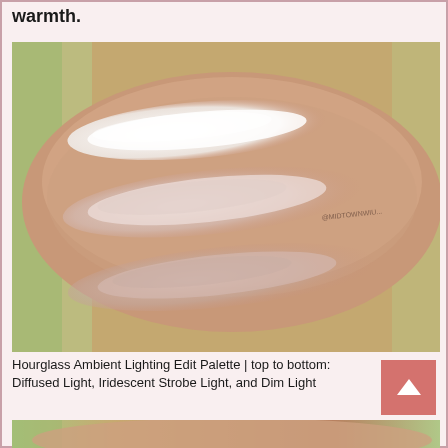warmth.
[Figure (photo): Close-up photo of a forearm with three makeup swatches showing highlighter products. Top swatch is bright white/pearl, middle swatch is soft pink-white iridescent, bottom swatch is a subtle rosy-pink. Small text watermark visible on the right side of the image.]
Hourglass Ambient Lighting Edit Palette | top to bottom: Diffused Light, Iridescent Strobe Light, and Dim Light
[Figure (photo): Bottom portion of another photo showing a forearm with additional makeup swatches, partially visible at the bottom of the page.]